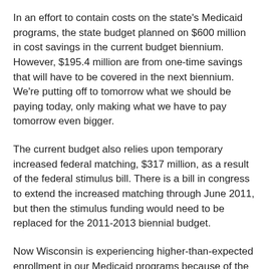In an effort to contain costs on the state's Medicaid programs, the state budget planned on $600 million in cost savings in the current budget biennium. However, $195.4 million are from one-time savings that will have to be covered in the next biennium. We're putting off to tomorrow what we should be paying today, only making what we have to pay tomorrow even bigger.
The current budget also relies upon temporary increased federal matching, $317 million, as a result of the federal stimulus bill. There is a bill in congress to extend the increased matching through June 2011, but then the stimulus funding would need to be replaced for the 2011-2013 biennial budget.
Now Wisconsin is experiencing higher-than-expected enrollment in our Medicaid programs because of the economy, and we're experiencing an additional shortfall of $450 million. Enrollment in Badger Care Plus has leveled off for now, but it is still higher than planned.
So the news the Core Plan can no longer afford to add new enrollees, and that Wisconsin now has a waiting list looking for